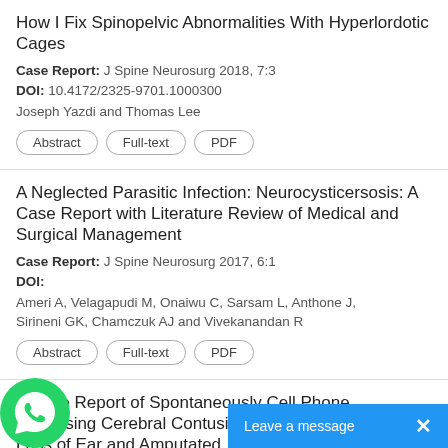How I Fix Spinopelvic Abnormalities With Hyperlordotic Cages
Case Report: J Spine Neurosurg 2018, 7:3
DOI: 10.4172/2325-9701.1000300
Joseph Yazdi and Thomas Lee
A Neglected Parasitic Infection: Neurocysticersosis: A Case Report with Literature Review of Medical and Surgical Management
Case Report: J Spine Neurosurg 2017, 6:1
DOI:
Ameri A, Velagapudi M, Onaiwu C, Sarsam L, Anthone J, Sirineni GK, Chamczuk AJ and Vivekanandan R
e Case Report of Spontaneously Cell Phone st Causing Cerebral Contusion and Complete Loss of Ear and Amputated
[Figure (other): WhatsApp icon (green circle with phone handset) overlaying the third entry, and a blue 'Leave a message X' chat bar at the bottom right]